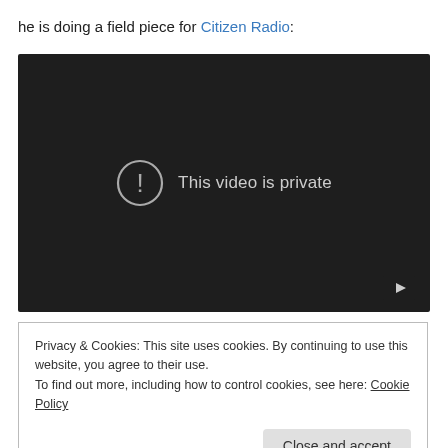he is doing a field piece for Citizen Radio:
[Figure (screenshot): Embedded YouTube video player showing 'This video is private' error message on a dark background, with a YouTube play button icon in the bottom right corner.]
Privacy & Cookies: This site uses cookies. By continuing to use this website, you agree to their use.
To find out more, including how to control cookies, see here: Cookie Policy
Close and accept